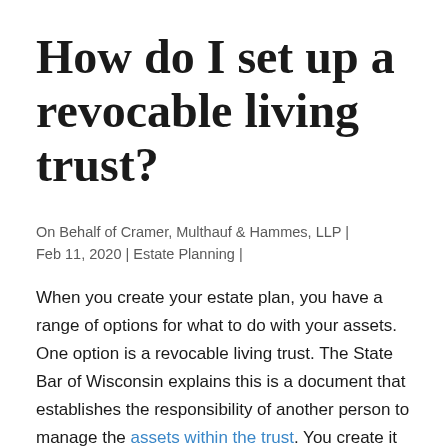How do I set up a revocable living trust?
On Behalf of Cramer, Multhauf & Hammes, LLP | Feb 11, 2020 | Estate Planning |
When you create your estate plan, you have a range of options for what to do with your assets. One option is a revocable living trust. The State Bar of Wisconsin explains this is a document that establishes the responsibility of another person to manage the assets within the trust. You create it